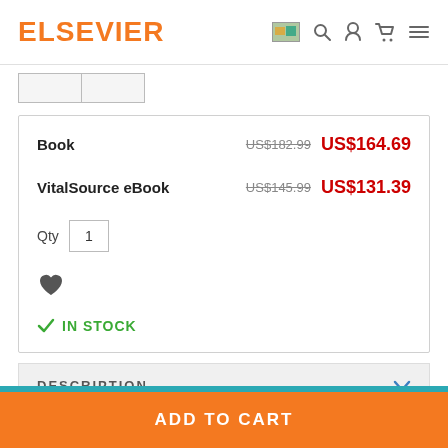ELSEVIER
Book  US$182.99  US$164.69
VitalSource eBook  US$145.99  US$131.39
Qty  1
IN STOCK
DESCRIPTION
ADD TO CART